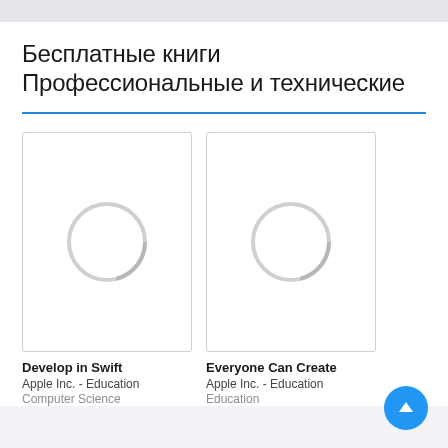Бесплатные книги
Профессиональные и технические
[Figure (illustration): Book cover placeholder with loading circle for 'Develop in Swift']
Develop in Swift
Apple Inc. - Education
Computer Science
[Figure (illustration): Book cover placeholder with loading circle for 'Everyone Can Create']
Everyone Can Create
Apple Inc. - Education
Education